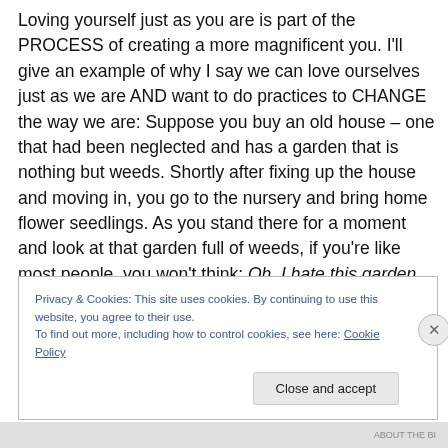Loving yourself just as you are is part of the PROCESS of creating a more magnificent you. I'll give an example of why I say we can love ourselves just as we are AND want to do practices to CHANGE the way we are: Suppose you buy an old house – one that had been neglected and has a garden that is nothing but weeds. Shortly after fixing up the house and moving in, you go to the nursery and bring home flower seedlings. As you stand there for a moment and look at that garden full of weeds, if you're like most people, you won't think: Oh, I hate this garden. It's so ugly.
Privacy & Cookies: This site uses cookies. By continuing to use this website, you agree to their use.
To find out more, including how to control cookies, see here: Cookie Policy